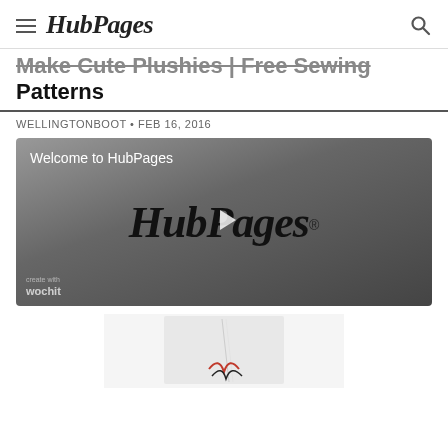HubPages
Make Cute Plushies | Free Sewing Patterns
WELLINGTONBOOT • FEB 16, 2016
[Figure (screenshot): Video player thumbnail showing HubPages logo with play button. Title reads 'Welcome to HubPages'. Wochit watermark in bottom left.]
[Figure (photo): Partial photo of a white fabric or sewing project with red and black detail visible at bottom.]